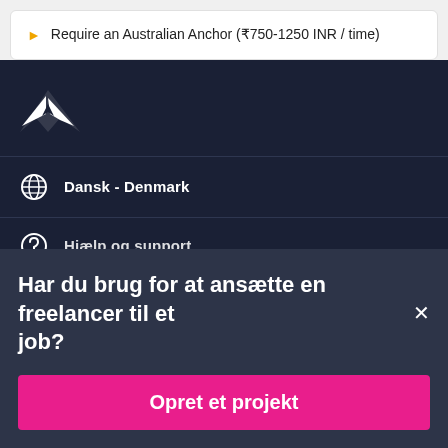Require an Australian Anchor (₹750-1250 INR / time)
[Figure (logo): Freelancer.com stylized bird/arrow logo in white on dark navy background]
Dansk - Denmark
Hjælp og support
Har du brug for at ansætte en freelancer til et job?
Opret et projekt